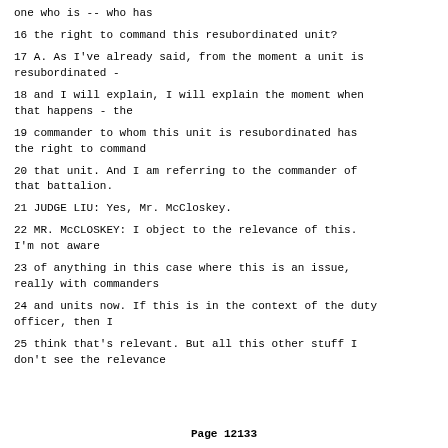one who is -- who has
16 the right to command this resubordinated unit?
17 A. As I've already said, from the moment a unit is resubordinated -
18 and I will explain, I will explain the moment when that happens - the
19 commander to whom this unit is resubordinated has the right to command
20 that unit. And I am referring to the commander of that battalion.
21 JUDGE LIU: Yes, Mr. McCloskey.
22 MR. McCLOSKEY: I object to the relevance of this. I'm not aware
23 of anything in this case where this is an issue, really with commanders
24 and units now. If this is in the context of the duty officer, then I
25 think that's relevant. But all this other stuff I don't see the relevance
Page 12133